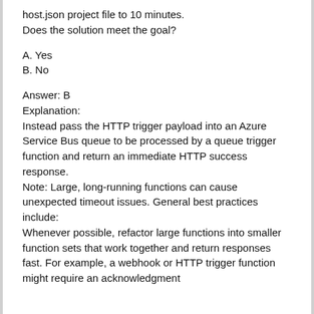host.json project file to 10 minutes.
Does the solution meet the goal?
A. Yes
B. No
Answer: B
Explanation:
Instead pass the HTTP trigger payload into an Azure Service Bus queue to be processed by a queue trigger function and return an immediate HTTP success response.
Note: Large, long-running functions can cause unexpected timeout issues. General best practices include:
Whenever possible, refactor large functions into smaller function sets that work together and return responses fast. For example, a webhook or HTTP trigger function might require an acknowledgment